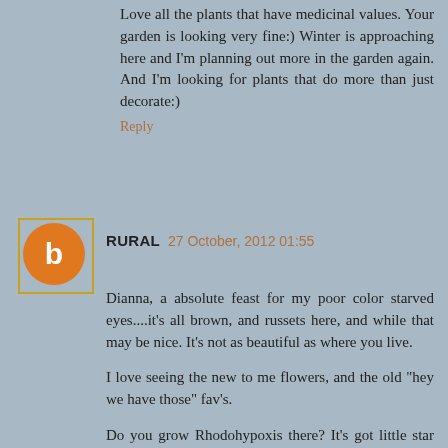Love all the plants that have medicinal values. Your garden is looking very fine:) Winter is approaching here and I'm planning out more in the garden again. And I'm looking for plants that do more than just decorate:)
Reply
RURAL  27 October, 2012 01:55
Dianna, a absolute feast for my poor color starved eyes....it's all brown, and russets here, and while that may be nice. It's not as beautiful as where you live.
I love seeing the new to me flowers, and the old "hey we have those" fav's.
Do you grow Rhodohypoxis there? It's got little star like hot pink, light pink, or white flowers....it grows down on the coast, but I think it's not hardy enough here.
Thanks so much for lifting my color seeking spirits, I really needed to see this today.